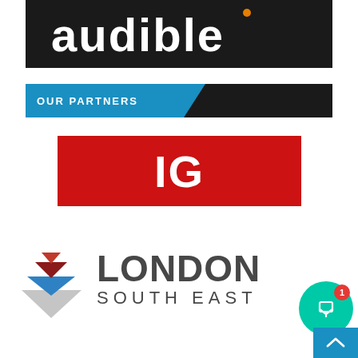[Figure (logo): Audible logo — white bold text 'audible' on dark background]
[Figure (logo): OUR PARTNERS banner — blue and dark grey header bar with white bold uppercase text 'OUR PARTNERS']
[Figure (logo): IG logo — white bold text 'IG' on red background]
[Figure (logo): London South East logo — diamond icon with red, blue, grey layers and text 'LONDON SOUTH EAST' in dark grey]